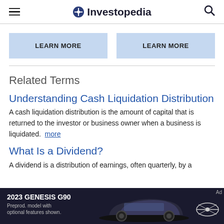Investopedia
LEARN MORE | LEARN MORE
Related Terms
Understanding Cash Liquidation Distribution
A cash liquidation distribution is the amount of capital that is returned to the investor or business owner when a business is liquidated. more
What Is a Dividend?
A dividend is a distribution of earnings, often quarterly, by a
[Figure (photo): 2023 Genesis G90 car advertisement banner at the bottom of the page]